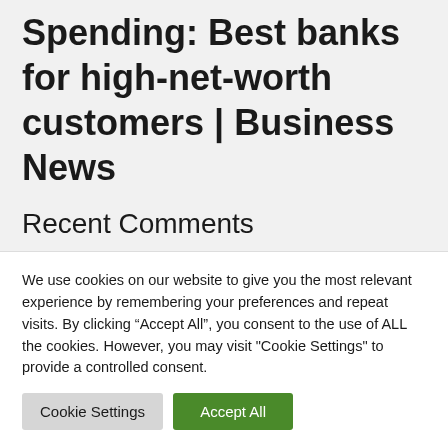Spending: Best banks for high-net-worth customers | Business News
Recent Comments
We use cookies on our website to give you the most relevant experience by remembering your preferences and repeat visits. By clicking “Accept All”, you consent to the use of ALL the cookies. However, you may visit "Cookie Settings" to provide a controlled consent.